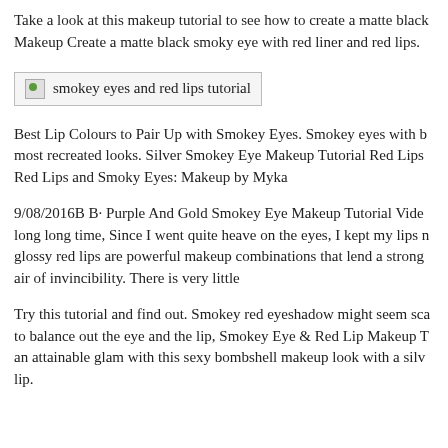Take a look at this makeup tutorial to see how to create a matte black Makeup Create a matte black smoky eye with red liner and red lips.
[Figure (photo): Broken image placeholder with alt text: smokey eyes and red lips tutorial]
Best Lip Colours to Pair Up with Smokey Eyes. Smokey eyes with b most recreated looks. Silver Smokey Eye Makeup Tutorial Red Lips Red Lips and Smoky Eyes: Makeup by Myka
9/08/2016B B· Purple And Gold Smokey Eye Makeup Tutorial Vide long long time, Since I went quite heave on the eyes, I kept my lips n glossy red lips are powerful makeup combinations that lend a strong air of invincibility. There is very little
Try this tutorial and find out. Smokey red eyeshadow might seem sca to balance out the eye and the lip, Smokey Eye & Red Lip Makeup T an attainable glam with this sexy bombshell makeup look with a silv lip.